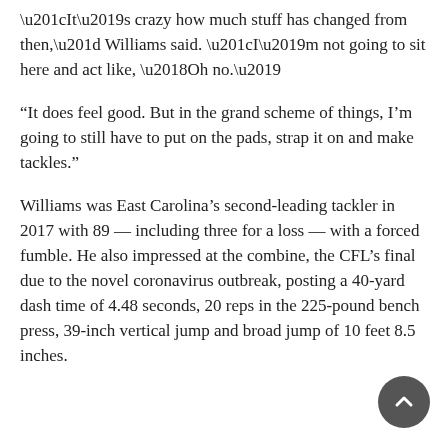“It’s crazy how much stuff has changed from then,” Williams said. “I’m not going to sit here and act like, ‘Oh no.’
“It does feel good. But in the grand scheme of things, I’m going to still have to put on the pads, strap it on and make tackles.”
Williams was East Carolina’s second-leading tackler in 2017 with 89 — including three for a loss — with a forced fumble. He also impressed at the combine, the CFL’s final due to the novel coronavirus outbreak, posting a 40-yard dash time of 4.48 seconds, 20 reps in the 225-pound bench press, 39-inch vertical jump and broad jump of 10 feet 8.5 inches.